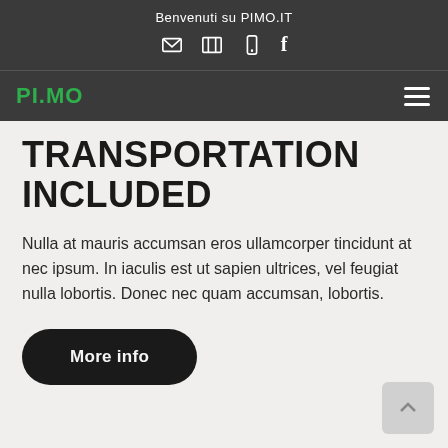Benvenuti su PIMO.IT
[Figure (logo): PI.MO logo in green with hamburger menu icon]
TRANSPORTATION INCLUDED
Nulla at mauris accumsan eros ullamcorper tincidunt at nec ipsum. In iaculis est ut sapien ultrices, vel feugiat nulla lobortis. Donec nec quam accumsan, lobortis.
More info